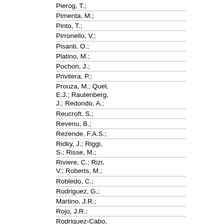Pierog, T.;
Pimenta, M.;
Pinto, T.;
Pirronello, V.;
Pisanti, O.;
Platino, M.;
Pochon, J.;
Privitera, P.;
Prouza, M.; Quel, E.J.; Rautenberg, J.; Redondo, A.;
Reucroft, S.;
Revenu, B.;
Rezende, F.A.S.;
Ridky, J.; Riggi, S.; Risse, M.;
Riviere, C.; Rizi, V.; Roberts, M.;
Robledo, C.;
Rodriguez, G.;
Martino, J.R.;
Rojo, J.R.;
Rodriguez-Cabo, I.; Rodriguez-Frias, M.D.; Ros, G.; Rosado, J.;
Roth, M.; Rouille-d'Orfeuil, B.;
Roulet, E.;
Roverok, A.C.;
Schu...